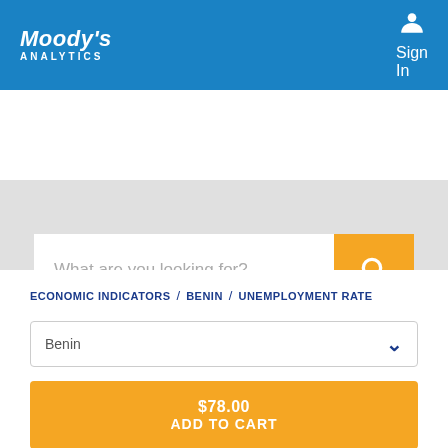Moody's Analytics | Sign In
[Figure (screenshot): Search bar with placeholder text 'What are you looking for?' and an orange search button with magnifying glass icon, on a light grey background]
ECONOMIC INDICATORS / BENIN / UNEMPLOYMENT RATE
Benin (dropdown selector)
$78.00 ADD TO CART